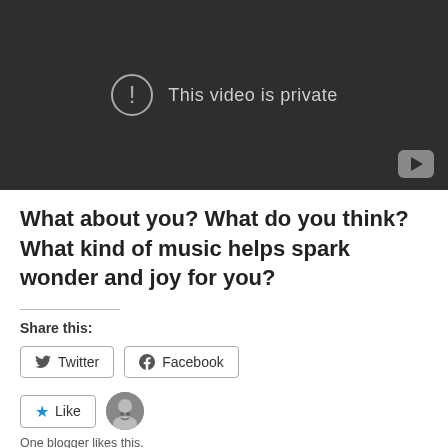[Figure (screenshot): Embedded video player showing 'This video is private' message with an exclamation icon and YouTube logo in the bottom right corner.]
What about you? What do you think? What kind of music helps spark wonder and joy for you?
Share this:
Twitter
Facebook
Like
One blogger likes this.